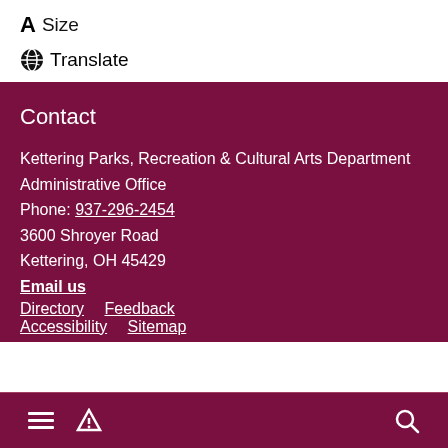A Size
🌐 Translate
Contact
Kettering Parks, Recreation & Cultural Arts Department
Administrative Office
Phone: 937-296-2454
3600 Shroyer Road
Kettering, OH 45429
Email us
Directory
Feedback
Accessibility
Sitemap
Receive our monthly email!
Navigation bar with menu, alert, and search icons